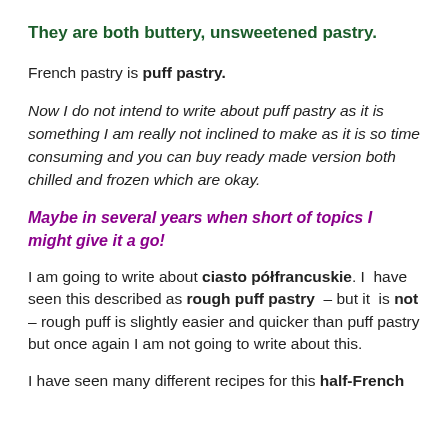They are both buttery, unsweetened pastry.
French pastry is puff pastry.
Now I do not intend to write about puff pastry as it is something I am really not inclined to make as it is so time consuming and you can buy ready made version both chilled and frozen which are okay.
Maybe in several years when short of topics I might give it a go!
I am going to write about ciasto półfrancuskie. I have seen this described as rough puff pastry – but it is not – rough puff is slightly easier and quicker than puff pastry but once again I am not going to write about this.
I have seen many different recipes for this half-French